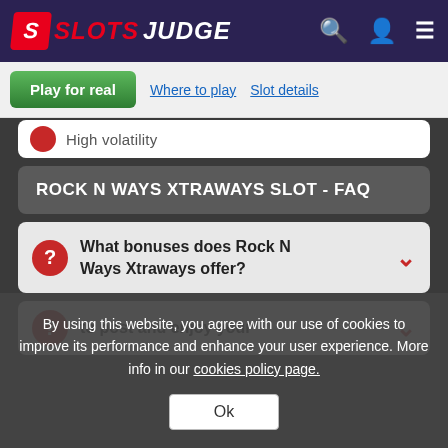SLOTS JUDGE
Play for real | Where to play | Slot details
High volatility
ROCK N WAYS XTRAWAYS SLOT - FAQ
What bonuses does Rock N Ways Xtraways offer?
By using this website, you agree with our use of cookies to improve its performance and enhance your user experience. More info in our cookies policy page.
Ok